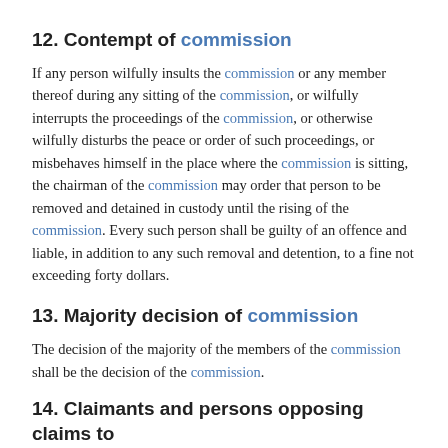12. Contempt of commission
If any person wilfully insults the commission or any member thereof during any sitting of the commission, or wilfully interrupts the proceedings of the commission, or otherwise wilfully disturbs the peace or order of such proceedings, or misbehaves himself in the place where the commission is sitting, the chairman of the commission may order that person to be removed and detained in custody until the rising of the commission. Every such person shall be guilty of an offence and liable, in addition to any such removal and detention, to a fine not exceeding forty dollars.
13. Majority decision of commission
The decision of the majority of the members of the commission shall be the decision of the commission.
14. Claimants and persons opposing claims to be allowed to give and adduce evidence